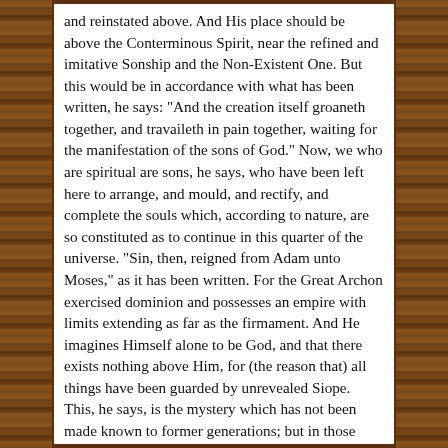and reinstated above. And His place should be above the Conterminous Spirit, near the refined and imitative Sonship and the Non-Existent One. But this would be in accordance with what has been written, he says: "And the creation itself groaneth together, and travaileth in pain together, waiting for the manifestation of the sons of God." Now, we who are spiritual are sons, he says, who have been left here to arrange, and mould, and rectify, and complete the souls which, according to nature, are so constituted as to continue in this quarter of the universe. "Sin, then, reigned from Adam unto Moses," as it has been written. For the Great Archon exercised dominion and possesses an empire with limits extending as far as the firmament. And He imagines Himself alone to be God, and that there exists nothing above Him, for (the reason that) all things have been guarded by unrevealed Siope. This, he says, is the mystery which has not been made known to former generations; but in those days the Great Archon, the Ogdoad, was King and Lord, as it seemed, of the universe. But (in reality) the Hebdomad was king and lord of this quarter of the universe, and the Ogdoad is Arrhetus, whereas the Hebdomad is Rhetus. This, he says, is the Archon of the Hebdomad, who has spoken to Moses,